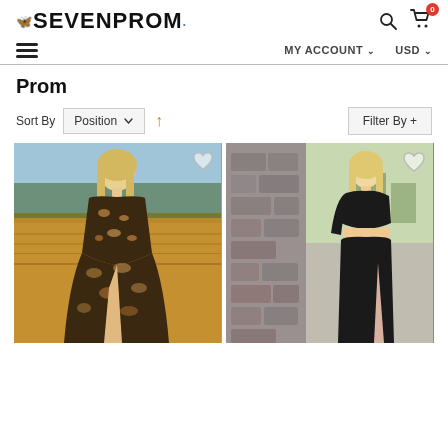SEVENPROM
[Figure (screenshot): E-commerce website for SEVENPROM showing prom dresses. Navigation bar with hamburger menu, MY ACCOUNT and USD dropdowns. Page title 'Prom' with Sort By Position filter and Filter By + button. Two product images shown: left is a woman in a leopard print one-shoulder ballgown in a field; right is a woman in a black one-shoulder long-sleeve two-piece dress by a stone wall.]